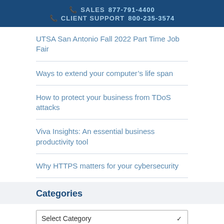SALES 877-791-4400 | CLIENT SUPPORT 800-235-3574
UTSA San Antonio Fall 2022 Part Time Job Fair
Ways to extend your computer's life span
How to protect your business from TDoS attacks
Viva Insights: An essential business productivity tool
Why HTTPS matters for your cybersecurity
Categories
Select Category
Archives